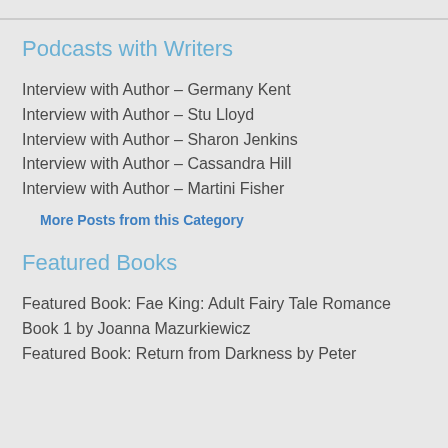Podcasts with Writers
Interview with Author – Germany Kent
Interview with Author – Stu Lloyd
Interview with Author – Sharon Jenkins
Interview with Author – Cassandra Hill
Interview with Author – Martini Fisher
More Posts from this Category
Featured Books
Featured Book: Fae King: Adult Fairy Tale Romance Book 1 by Joanna Mazurkiewicz
Featured Book: Return from Darkness by Peter